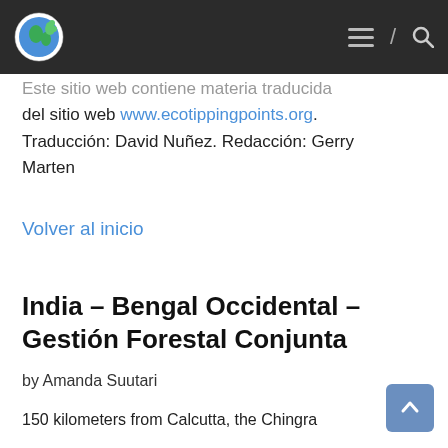[Figure (logo): EcoTipping Points globe logo with green leaf and blue sphere, in circular shape]
Este sitio web contiene materia traducida del sitio web www.ecotippingpoints.org. Traducción: David Nuñez. Redacción: Gerry Marten
Volver al inicio
India – Bengal Occidental – Gestión Forestal Conjunta
by Amanda Suutari
150 kilometers from Calcutta, the Chingra